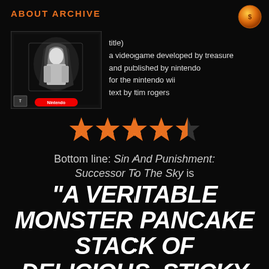ABOUT ARCHIVE
[Figure (photo): Black and white video game box art image for Sin And Punishment on Nintendo Wii]
title)
a videogame developed by treasure
and published by nintendo
for the nintendo wii
text by tim rogers
[Figure (infographic): Four orange filled stars and one half orange star rating (4.5 out of 5)]
Bottom line: Sin And Punishment: Successor To The Sky is
"A VERITABLE MONSTER PANCAKE STACK OF DELICIOUS, STICKY FRICTIONS."